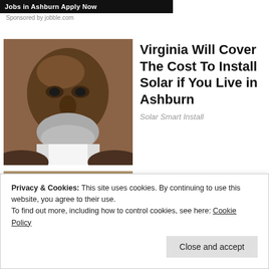[Figure (screenshot): Dark banner with white bold text: 'Jobs in Ashburn Apply Now']
Sponsored by jobble.com
[Figure (photo): Photo of an elderly black man with a grey beard, close-up portrait]
Virginia Will Cover The Cost To Install Solar if You Live in Ashburn
Solar Smart Install
[Figure (photo): Photo of Donald Trump and Melania Trump together]
[Pics] Donald Trump's House Cost $160M & This Is What It Looks Like Inside
BuzzAura
Privacy & Cookies: This site uses cookies. By continuing to use this website, you agree to their use.
To find out more, including how to control cookies, see here: Cookie Policy
Close and accept